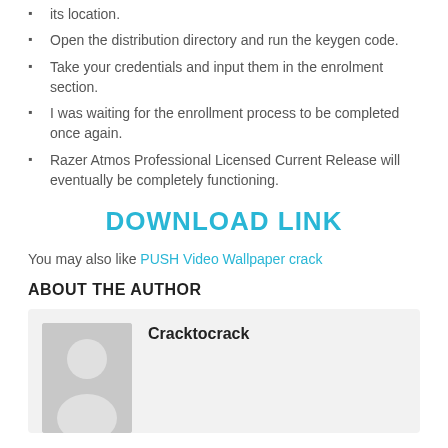its location.
Open the distribution directory and run the keygen code.
Take your credentials and input them in the enrolment section.
I was waiting for the enrollment process to be completed once again.
Razer Atmos Professional Licensed Current Release will eventually be completely functioning.
DOWNLOAD LINK
You may also like PUSH Video Wallpaper crack
ABOUT THE AUTHOR
Cracktocrack